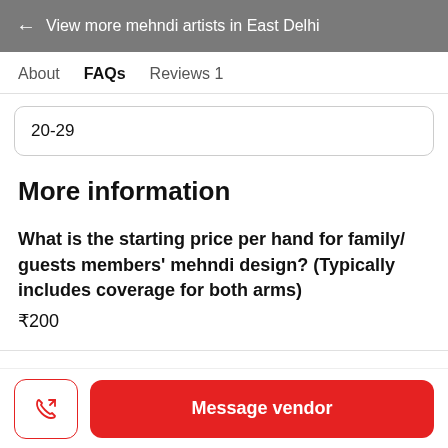← View more mehndi artists in East Delhi
About   FAQs   Reviews 1
20-29
More information
What is the starting price per hand for family/guests members' mehndi design? (Typically includes coverage for both arms)
₹200
Message vendor